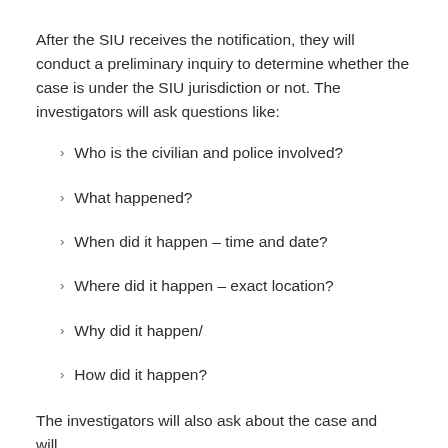After the SIU receives the notification, they will conduct a preliminary inquiry to determine whether the case is under the SIU jurisdiction or not. The investigators will ask questions like:
Who is the civilian and police involved?
What happened?
When did it happen – time and date?
Where did it happen – exact location?
Why did it happen/
How did it happen?
The investigators will also ask about the case and will...